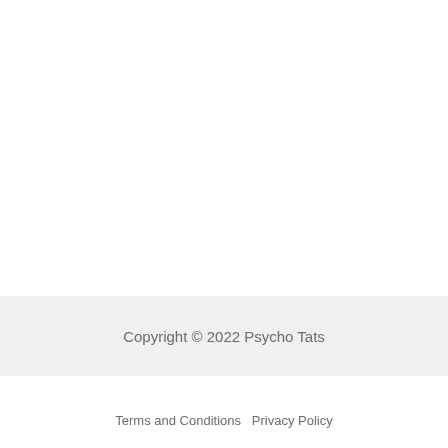Copyright © 2022 Psycho Tats
Terms and Conditions  Privacy Policy